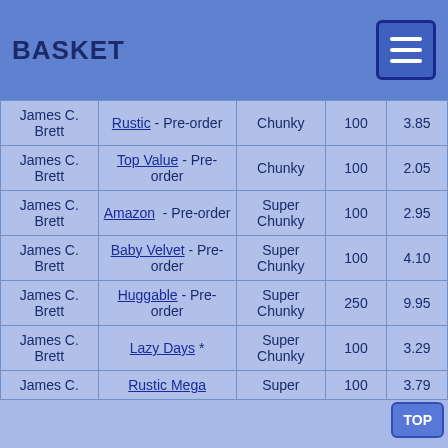BASKET
|  |  |  |  |  |
| --- | --- | --- | --- | --- |
| James C. Brett | Rustic - Pre-order | Chunky | 100 | 3.85 |
| James C. Brett | Top Value - Pre-order | Chunky | 100 | 2.05 |
| James C. Brett | Amazon - Pre-order | Super Chunky | 100 | 2.95 |
| James C. Brett | Baby Velvet - Pre-order | Super Chunky | 100 | 4.10 |
| James C. Brett | Huggable - Pre-order | Super Chunky | 250 | 9.95 |
| James C. Brett | Lazy Days * | Super Chunky | 100 | 3.29 |
| James C. Brett | Rustic Mega | Super | 100 | 3.79 |